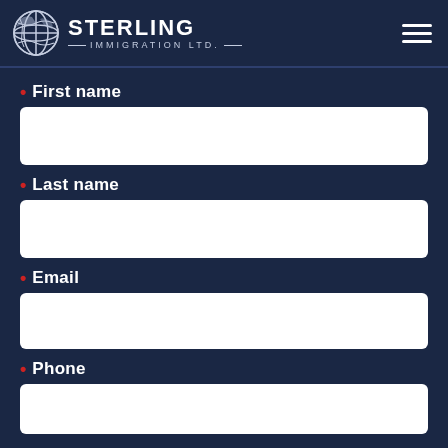STERLING IMMIGRATION LTD.
* First name
* Last name
* Email
* Phone